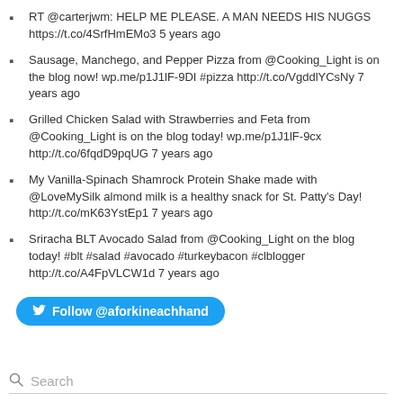RT @carterjwm: HELP ME PLEASE. A MAN NEEDS HIS NUGGS https://t.co/4SrfHmEMo3 5 years ago
Sausage, Manchego, and Pepper Pizza from @Cooking_Light is on the blog now! wp.me/p1J1lF-9DI #pizza http://t.co/VgddlYCsNy 7 years ago
Grilled Chicken Salad with Strawberries and Feta from @Cooking_Light is on the blog today! wp.me/p1J1lF-9cx http://t.co/6fqdD9pqUG 7 years ago
My Vanilla-Spinach Shamrock Protein Shake made with @LoveMySilk almond milk is a healthy snack for St. Patty’s Day! http://t.co/mK63YstEp1 7 years ago
Sriracha BLT Avocado Salad from @Cooking_Light on the blog today! #blt #salad #avocado #turkeybacon #clblogger http://t.co/A4FpVLCW1d 7 years ago
Follow @aforkineachhand
Search